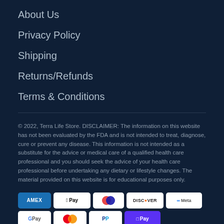About Us
Privacy Policy
Shipping
Returns/Refunds
Terms & Conditions
© 2022, Terra Life Store. DISCLAIMER: The information on this website has not been evaluated by the FDA and is not intended to treat, diagnose, cure or prevent any disease. This information is not intended as a substitute for the advice or medical care of a qualified health care professional and you should seek the advice of your health care professional before undertaking any dietary or lifestyle changes. The material provided on this website is for educational purposes only.
[Figure (other): Payment method icons: American Express, Apple Pay, Diners Club, Discover, Meta Pay, Google Pay, Mastercard, PayPal, Shop Pay, Venmo, Visa]